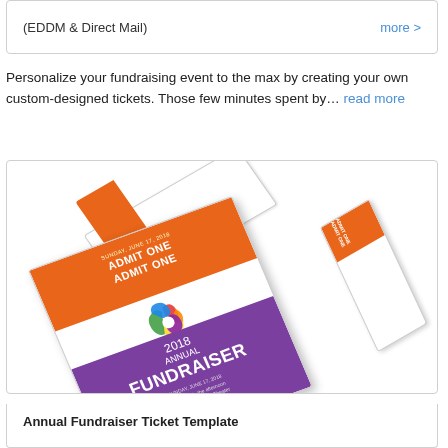(EDDM & Direct Mail)
more >
Personalize your fundraising event to the max by creating your own custom-designed tickets. Those few minutes spent by… read more
[Figure (photo): Stack of custom fundraiser tickets showing 'ADMIT ONE ADMIT ONE' in orange on white tickets, with a main ticket featuring a colorful swirl logo for 'CHET PERFORMING ART THEATER 2018 ANNUAL FUNDRAISER SUNDAY JUNE 17, 2018']
Annual Fundraiser Ticket Template